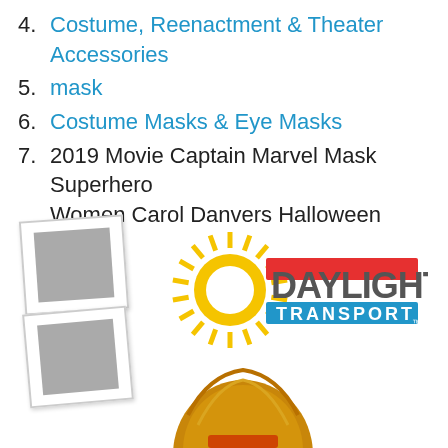4. Costume, Reenactment & Theater Accessories
5. mask
6. Costume Masks & Eye Masks
7. 2019 Movie Captain Marvel Mask Superhero Women Carol Danvers Halloween Helmet
[Figure (logo): Daylight Transport company logo with yellow sun rays circle and red/blue banner]
[Figure (photo): Two polaroid-style placeholder image icons on left side]
[Figure (photo): Partial photo of golden helmet at bottom of page]